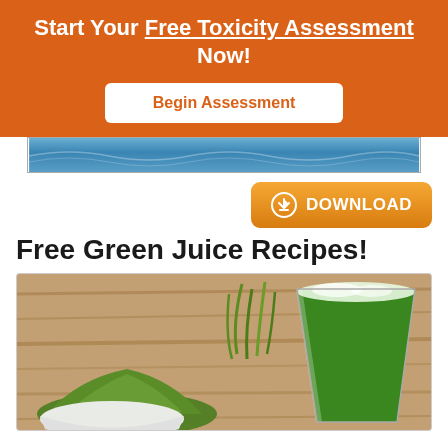Start Your Free Toxicity Assessment Now!
[Figure (other): Begin Assessment button on orange background]
[Figure (other): Blue water/ocean strip image]
[Figure (other): Orange Download button with download icon]
Free Green Juice Recipes!
[Figure (photo): Photo of a glass of green juice with green powder and wheatgrass on a wooden table]